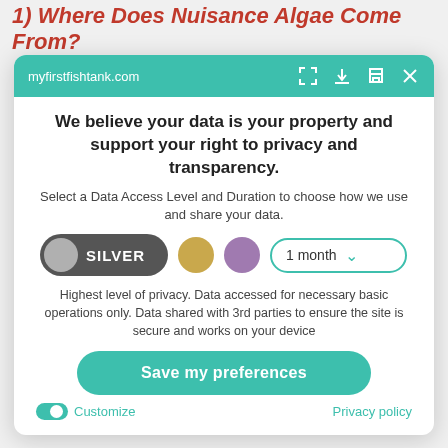1) Where Does Nuisance Algae Come From?
[Figure (screenshot): Privacy consent modal overlay on myfirstfishtank.com website. Contains a teal browser-style address bar with 'myfirstfishtank.com', a heading about data privacy, Silver/Gold/Purple data access level options, a 1 month duration selector, privacy description text, a 'Save my preferences' button, and Customize/Privacy policy footer links.]
We believe your data is your property and support your right to privacy and transparency.
Select a Data Access Level and Duration to choose how we use and share your data.
SILVER
1 month
Highest level of privacy. Data accessed for necessary basic operations only. Data shared with 3rd parties to ensure the site is secure and works on your device
Save my preferences
Customize
Privacy policy